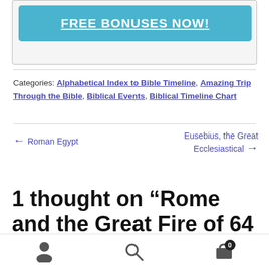[Figure (other): Blue promotional button with text FREE BONUSES NOW! in white underlined text]
Categories: Alphabetical Index to Bible Timeline, Amazing Trip Through the Bible, Biblical Events, Biblical Timeline Chart
← Roman Egypt
Eusebius, the Great Ecclesiastical →
1 thought on "Rome and the Great Fire of 64 AD"
[Figure (other): Bottom navigation bar with person icon, search icon, and cart icon with badge showing 0]